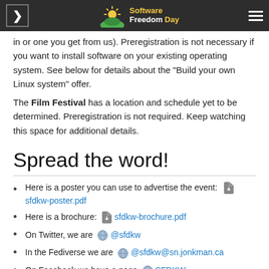Software Freedom Day
in or one you get from us). Preregistration is not necessary if you want to install software on your existing operating system. See below for details about the "Build your own Linux system" offer.
The Film Festival has a location and schedule yet to be determined. Preregistration is not required. Keep watching this space for additional details.
Spread the word!
Here is a poster you can use to advertise the event: sfdkw-poster.pdf
Here is a brochure: sfdkw-brochure.pdf
On Twitter, we are @sfdkw
In the Fediverse we are @sfdkw@sn.jonkman.ca
On Facebook we have a page SFDKW
And here is a Facebook event which you can share with friends: